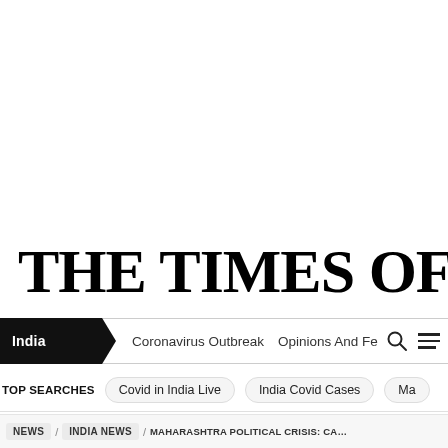THE TIMES OF INDIA
India | Coronavirus Outbreak | Opinions And Fe
TOP SEARCHES  Covid in India Live  India Covid Cases  Ma
NEWS / INDIA NEWS / MAHARASHTRA POLITICAL CRISIS: CANT SCARE US, SA...